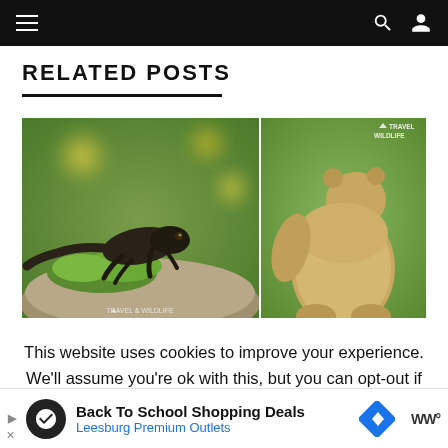Navigation bar with hamburger menu, search icon, and user icon
RELATED POSTS
[Figure (photo): Close-up photo of a dark salamander/newt on green moss and stone with yellow flowers blurred in background. Travel and Wildlife watermark visible at bottom.]
[Figure (photo): Photo of a light brown/blonde bear from behind, looking upward, with green blurred background. Travel and Wildlife watermark visible at top right.]
This website uses cookies to improve your experience. We'll assume you're ok with this, but you can opt-out if you wish.
Back To School Shopping Deals — Leesburg Premium Outlets [Advertisement]